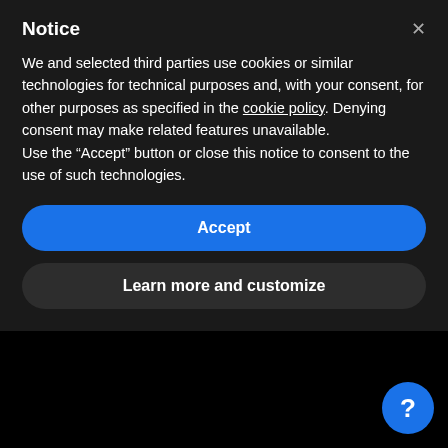Notice
We and selected third parties use cookies or similar technologies for technical purposes and, with your consent, for other purposes as specified in the cookie policy. Denying consent may make related features unavailable.
Use the “Accept” button or close this notice to consent to the use of such technologies.
Accept
Learn more and customize
Fro tip
Even if you’ve landed on the absolute best food blog name you can think of, it’s a good idea to have two or three food blog name ideas as